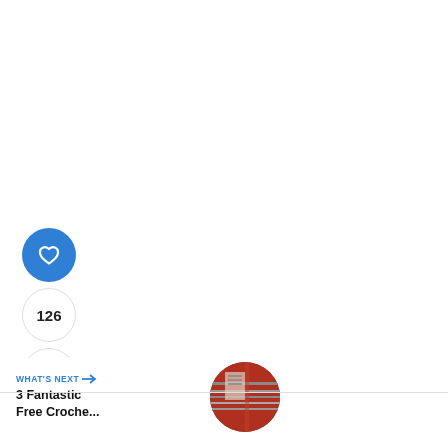[Figure (screenshot): Blue circular like/heart button with white heart icon]
126
[Figure (screenshot): White circular share button with share icon]
WHAT'S NEXT → 3 Fantastic Free Croche...
[Figure (screenshot): Circular thumbnail image for next article about crochet]